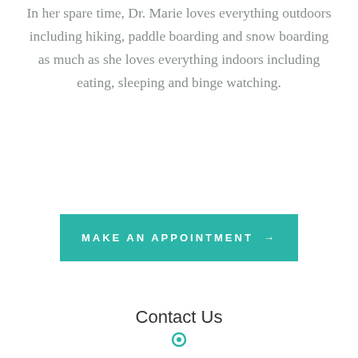In her spare time, Dr. Marie loves everything outdoors including hiking, paddle boarding and snow boarding as much as she loves everything indoors including eating, sleeping and binge watching.
MAKE AN APPOINTMENT →
Contact Us